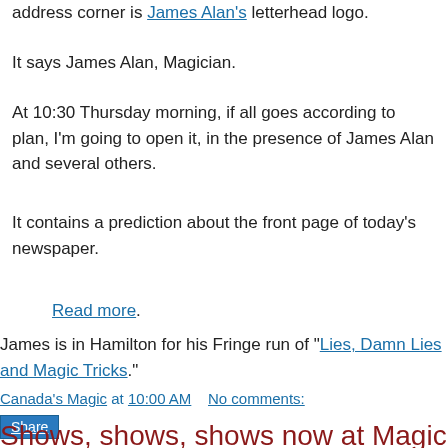address corner is James Alan's letterhead logo.
It says James Alan, Magician.
At 10:30 Thursday morning, if all goes according to plan, I'm going to open it, in the presence of James Alan and several others.
It contains a prediction about the front page of today's newspaper.
Read more.
James is in Hamilton for his Fringe run of "Lies, Damn Lies and Magic Tricks."
Canada's Magic at 10:00 AM    No comments:
Share
Shows, shows, shows now at Magic